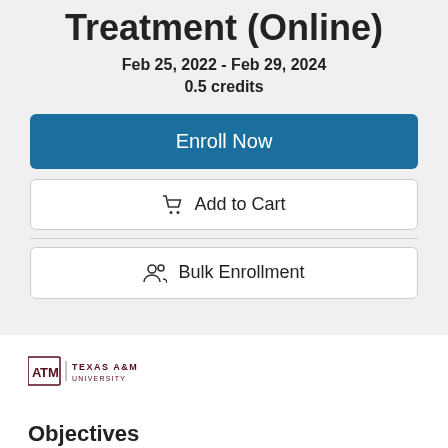Treatment (Online)
Feb 25, 2022 - Feb 29, 2024
0.5 credits
Enroll Now
Add to Cart
Bulk Enrollment
[Figure (logo): Texas A&M University logo with ATM symbol and text]
Objectives